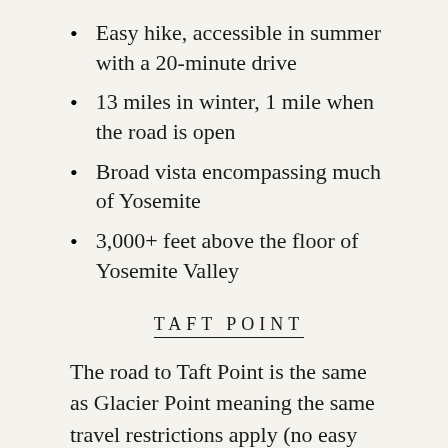Easy hike, accessible in summer with a 20-minute drive
13 miles in winter, 1 mile when the road is open
Broad vista encompassing much of Yosemite
3,000+ feet above the floor of Yosemite Valley
TAFT POINT
The road to Taft Point is the same as Glacier Point meaning the same travel restrictions apply (no easy winter weddings). It's a